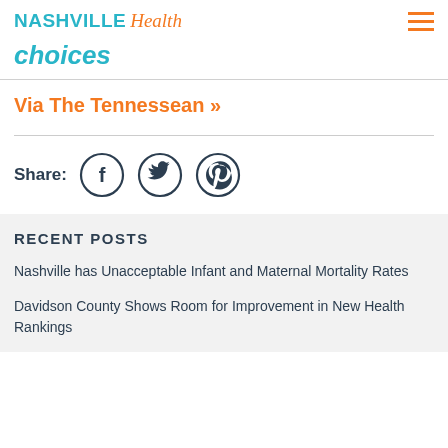NASHVILLE Health
choices
Via The Tennessean »
[Figure (other): Social share buttons: Facebook, Twitter, Pinterest icons in circles with Share label]
RECENT POSTS
Nashville has Unacceptable Infant and Maternal Mortality Rates
Davidson County Shows Room for Improvement in New Health Rankings